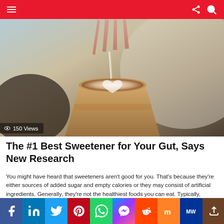Navigation bar with menu and icons
[Figure (photo): Close-up photo of a person's hand sprinkling sugar into a paper coffee cup with latte art, bokeh background. Overlay shows '150 Views' with an eye icon.]
The #1 Best Sweetener for Your Gut, Says New Research
You might have heard that sweeteners aren't good for you. That's because they're either sources of added sugar and empty calories or they may consist of artificial ingredients. Generally, they're not the healthiest foods you can eat. Typically, avoiding sugary products may help with weight management and metabolic diseases, as well as other aspects of [...] MORE
[Figure (infographic): Social media sharing icons bar: Facebook (blue), LinkedIn (dark blue), Twitter (light blue), Pinterest (red), WhatsApp (green), Messenger (blue gradient), Reddit (orange-red), Mix (orange), MeWe (dark blue), Share (brown/dark).]